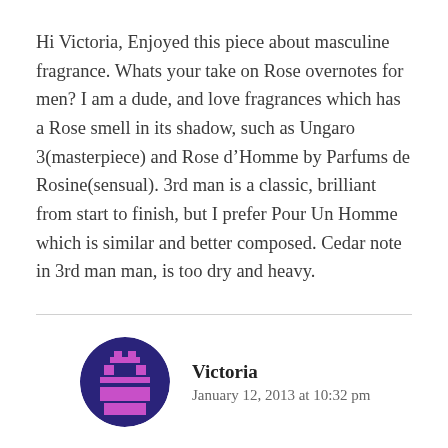Hi Victoria, Enjoyed this piece about masculine fragrance. Whats your take on Rose overnotes for men? I am a dude, and love fragrances which has a Rose smell in its shadow, such as Ungaro 3(masterpiece) and Rose d'Homme by Parfums de Rosine(sensual). 3rd man is a classic, brilliant from start to finish, but I prefer Pour Un Homme which is similar and better composed. Cedar note in 3rd man man, is too dry and heavy.
[Figure (illustration): Pixel art avatar of Victoria in a dark blue circle — a retro robot/printer-like character in purple on dark blue background]
Victoria
January 12, 2013 at 10:32 pm
I LOVE rose in men's fragrances and I think it is